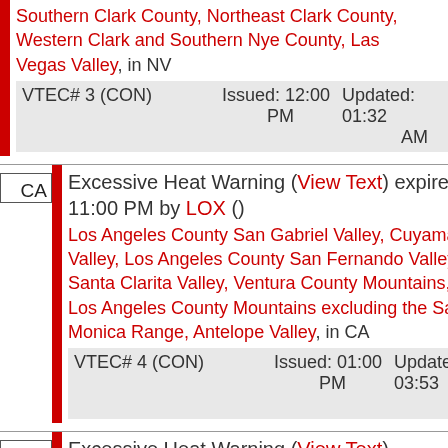Southern Clark County, Northeast Clark County, Western Clark and Southern Nye County, Las Vegas Valley, in NV
| VTEC# 3 (CON) | Issued: 12:00 PM | Updated: 01:32 AM |
| --- | --- | --- |
Excessive Heat Warning (View Text) expires 11:00 PM by LOX ()
Los Angeles County San Gabriel Valley, Cuyama Valley, Los Angeles County San Fernando Valley, Santa Clarita Valley, Ventura County Mountains, Los Angeles County Mountains excluding the Santa Monica Range, Antelope Valley, in CA
| VTEC# 4 (CON) | Issued: 01:00 PM | Updated: 03:53 AM |
| --- | --- | --- |
Excessive Heat Warning (View Text) expires 10:00 PM by LKN ()